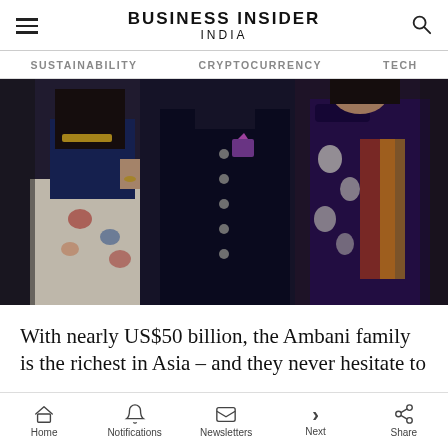BUSINESS INSIDER INDIA
SUSTAINABILITY   CRYPTOCURRENCY   TECH
[Figure (photo): Group photo of people in traditional Indian formal attire at an event, including a man in a dark navy sherwani suit flanked by women in ornate Indian outfits]
With nearly US$50 billion, the Ambani family is the richest in Asia – and they never hesitate to
Home   Notifications   Newsletters   Next   Share